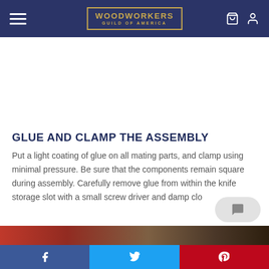WOODWORKERS GUILD OF AMERICA
GLUE AND CLAMP THE ASSEMBLY
Put a light coating of glue on all mating parts, and clamp using minimal pressure. Be sure that the components remain square during assembly. Carefully remove glue from within the knife storage slot with a small screw driver and damp clo
[Figure (photo): Partial view of woodworking assembly with clamps, showing red and brown tones at the bottom of the page]
Social share bar with Facebook, Twitter, and Pinterest buttons